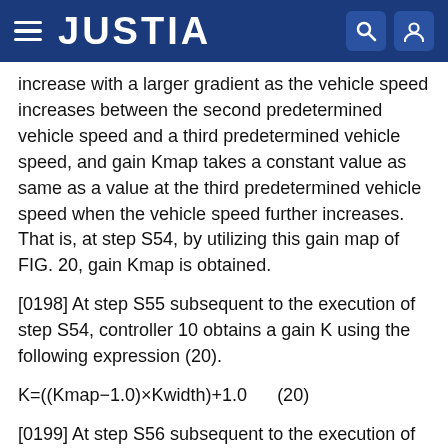JUSTIA
increase with a larger gradient as the vehicle speed increases between the second predetermined vehicle speed and a third predetermined vehicle speed, and gain Kmap takes a constant value as same as a value at the third predetermined vehicle speed when the vehicle speed further increases. That is, at step S54, by utilizing this gain map of FIG. 20, gain Kmap is obtained.
[0198] At step S55 subsequent to the execution of step S54, controller 10 obtains a gain K using the following expression (20).
[0199] At step S56 subsequent to the execution of step S55, controller 10 obtains new target inter-vehicle distance L* by multiplying gain K and target inter-vehicle distance L* (L*=K×L*). Thereafter, the present